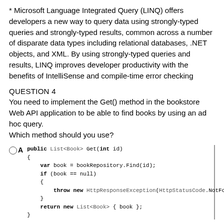* Microsoft Language Integrated Query (LINQ) offers developers a new way to query data using strongly-typed queries and strongly-typed results, common across a number of disparate data types including relational databases, .NET objects, and XML. By using strongly-typed queries and results, LINQ improves developer productivity with the benefits of IntelliSense and compile-time error checking
QUESTION 4
You need to implement the Get() method in the bookstore Web API application to be able to find books by using an ad hoc query.
Which method should you use?
[Figure (other): Answer option A showing a code block: public List<Book> Get(int id) { var book = bookRepository.Find(id); if (book == null) { throw new HttpResponseException(HttpStatusCode.NotFound); } return new List<Book> { book }; }]